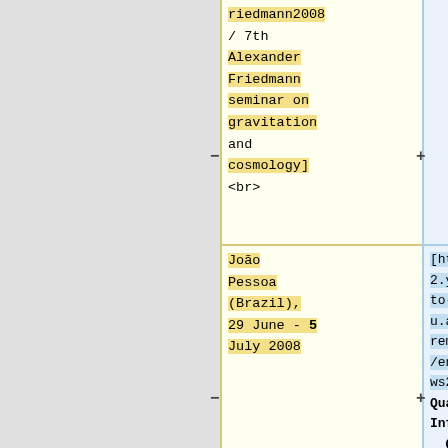riedmann2008 / 7th Alexander Friedmann seminar on gravitation and cosmology] <br>
Jo&atilde;o Pessoa (Brazil), 29 June - 5 July 2008
[https://www2.yukawa.kyoto-u.ac.jp/~extremeuniverse/en/longtermws2023/ Quantum Information, Quantum Matter and Quantum